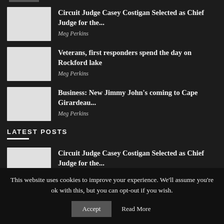Circuit Judge Casey Costigan Selected as Chief Judge for the... — Meg Perkins
Veterans, first responders spend the day on Rockford lake — Meg Perkins
Business: New Jimmy John's coming to Cape Girardeau... — Meg Perkins
LATEST POSTS
Circuit Judge Casey Costigan Selected as Chief Judge for the...
This website uses cookies to improve your experience. We'll assume you're ok with this, but you can opt-out if you wish.